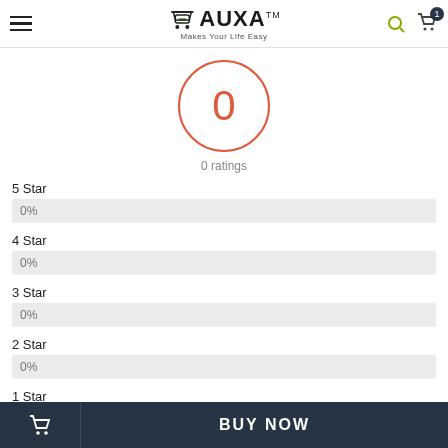GAUXA - Makes Your Life Easy
[Figure (other): Circular rating display showing 0 with red/orange border, labeled '0 ratings']
0 ratings
5 Star
0%
4 Star
0%
3 Star
0%
2 Star
0%
1 Star
BUY NOW